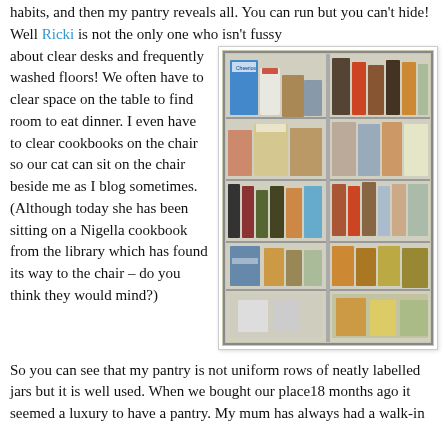habits, and then my pantry reveals all. You can run but you can't hide! Well Ricki is not the only one who isn't fussy about clear desks and frequently washed floors! We often have to clear space on the table to find room to eat dinner. I even have to clear cookbooks on the chair so our cat can sit on the chair beside me as I blog sometimes. (Although today she has been sitting on a Nigella cookbook from the library which has found its way to the chair – do you think they would mind?)
[Figure (photo): A photograph of a pantry cupboard with two sides, filled with multiple shelves of food items including boxes of Cheerios, jars, bottles, cans, and various pantry staples.]
So you can see that my pantry is not uniform rows of neatly labelled jars but it is well used. When we bought our place 18 months ago it seemed a luxury to have a pantry. My mum has always had a walk-in